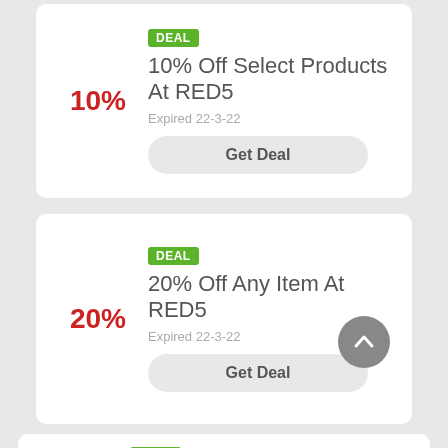10%
DEAL
10% Off Select Products At RED5
Expired 22-3-22
Get Deal
20%
DEAL
20% Off Any Item At RED5
Expired 22-3-22
Get Deal
DEAL
Up To 75% Off At RED5